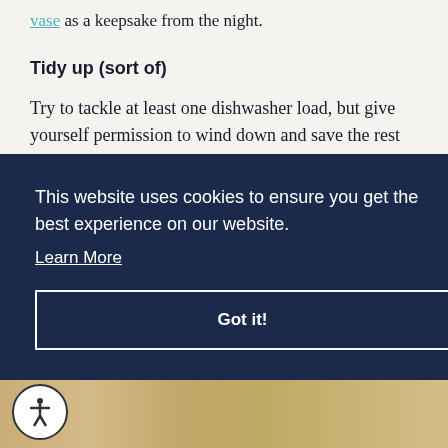vase as a keepsake from the night.
Tidy up (sort of)
Try to tackle at least one dishwasher load, but give yourself permission to wind down and save the rest of the clean-up for the morning. You worked hard, and you deserve a good night's rest.
This website uses cookies to ensure you get the best experience on our website. Learn More Got it!